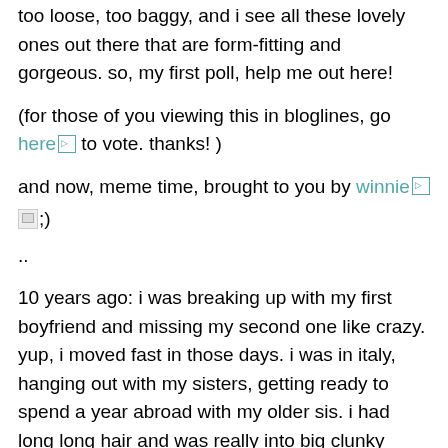too loose, too baggy, and i see all these lovely ones out there that are form-fitting and gorgeous. so, my first poll, help me out here!
(for those of you viewing this in bloglines, go here to vote. thanks! )
and now, meme time, brought to you by winnie ;)
..
10 years ago: i was breaking up with my first boyfriend and missing my second one like crazy. yup, i moved fast in those days. i was in italy, hanging out with my sisters, getting ready to spend a year abroad with my older sis. i had long long hair and was really into big clunky shoes.